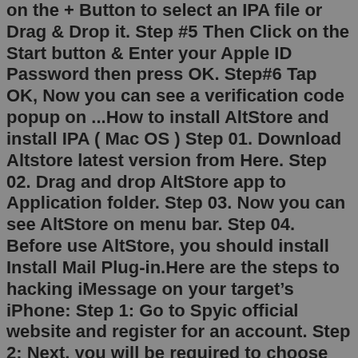on the + Button to select an IPA file or Drag & Drop it. Step #5 Then Click on the Start button & Enter your Apple ID Password then press OK. Step#6 Tap OK, Now you can see a verification code popup on ...How to install AltStore and install IPA ( Mac OS ) Step 01. Download Altstore latest version from Here. Step 02. Drag and drop AltStore app to Application folder. Step 03. Now you can see AltStore on menu bar. Step 04. Before use AltStore, you should install Install Mail Plug-in.Here are the steps to hacking iMessage on your target's iPhone: Step 1: Go to Spyic official website and register for an account. Step 2: Next, you will be required to choose the target device. For this case, select iOS. Step 3: Choose the appropriate plan for you.Get WhatsApp on iPad and iPod Touch with lots of cool features! Download. EMULATORS. GBA4iOS. v2.1 A GameBoy/GameBoy Advance Emulator for iOS! Download. iSSB v2.21 A Super Smash Bros Game for iOS! ... HACKED GAMES. Clash of Phoenix. v8.709.2 Unlimited Clash of Clans coins, gems &